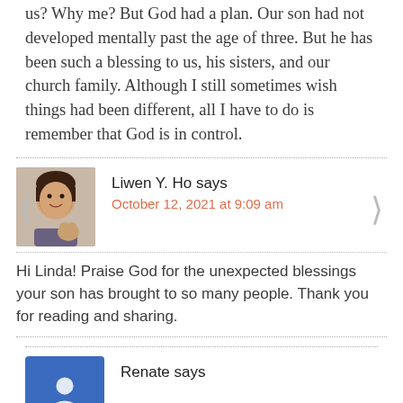us? Why me? But God had a plan. Our son had not developed mentally past the age of three. But he has been such a blessing to us, his sisters, and our church family. Although I still sometimes wish things had been different, all I have to do is remember that God is in control.
Liwen Y. Ho says
October 12, 2021 at 9:09 am
Hi Linda! Praise God for the unexpected blessings your son has brought to so many people. Thank you for reading and sharing.
Renate says